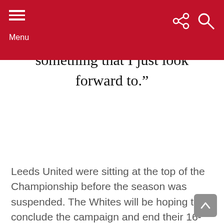Menu
something that I just look forward to.”
Leeds United were sitting at the top of the Championship before the season was suspended. The Whites will be hoping to conclude the campaign and end their 16-year exile from the Premier League.